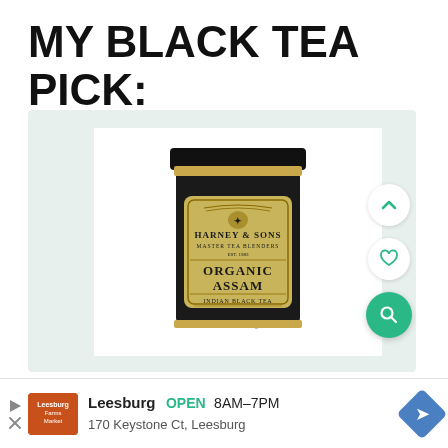MY BLACK TEA PICK:
[Figure (photo): Harney & Sons Organic Assam Indian Black Tea tin on a product page with action buttons (chevron up, heart, search)]
Leesburg  OPEN  8AM–7PM  170 Keystone Ct, Leesburg